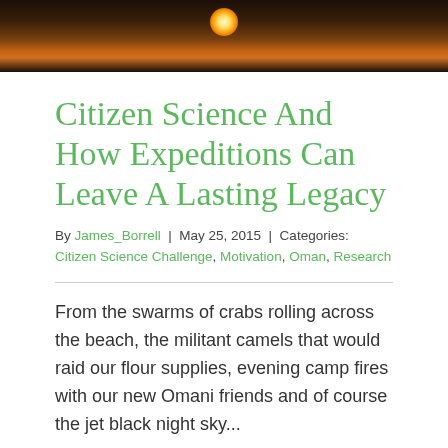[Figure (photo): Header photo of a campfire or flame light in a dark rocky/cave setting, seen from a distance with glowing orange and yellow light surrounded by darkness.]
Citizen Science And How Expeditions Can Leave A Lasting Legacy
By James_Borrell | May 25, 2015 | Categories: Citizen Science Challenge, Motivation, Oman, Research
From the swarms of crabs rolling across the beach, the militant camels that would raid our flour supplies, evening camp fires with our new Omani friends and of course the jet black night sky...